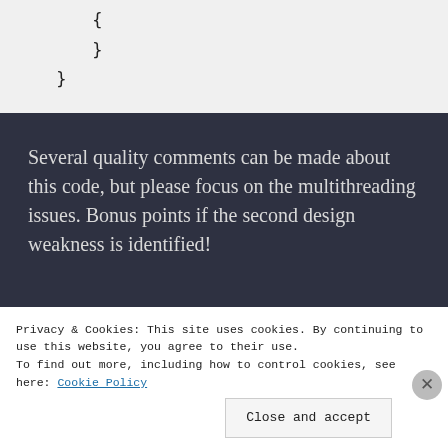{
    }
}
Several quality comments can be made about this code, but please focus on the multithreading issues. Bonus points if the second design weakness is identified!
Privacy & Cookies: This site uses cookies. By continuing to use this website, you agree to their use.
To find out more, including how to control cookies, see here: Cookie Policy
Close and accept